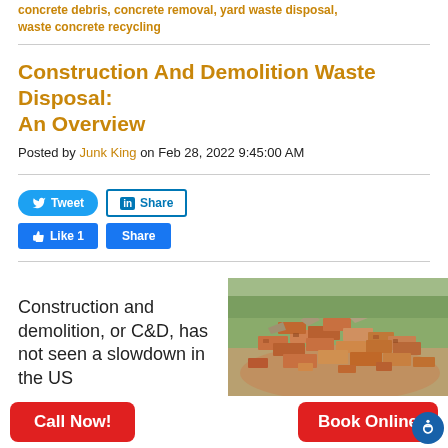concrete debris, concrete removal, yard waste disposal, waste concrete recycling
Construction And Demolition Waste Disposal: An Overview
Posted by Junk King on Feb 28, 2022 9:45:00 AM
[Figure (screenshot): Social sharing buttons: Tweet (Twitter), Share (LinkedIn), Like 1 (Facebook), Share (Facebook)]
[Figure (photo): Pile of construction and demolition debris including bricks and concrete rubble outdoors]
Construction and demolition, or C&D, has not seen a slowdown in the US
Call Now!
Book Online